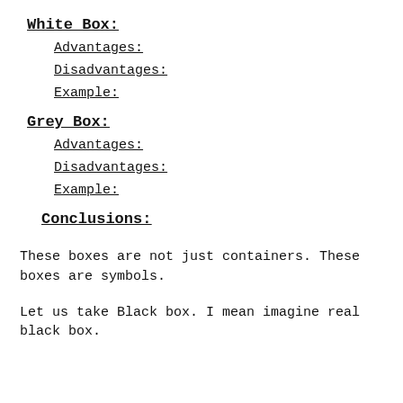White Box:
Advantages:
Disadvantages:
Example:
Grey Box:
Advantages:
Disadvantages:
Example:
Conclusions:
These boxes are not just containers. These boxes are symbols.
Let us take Black box. I mean imagine real black box.